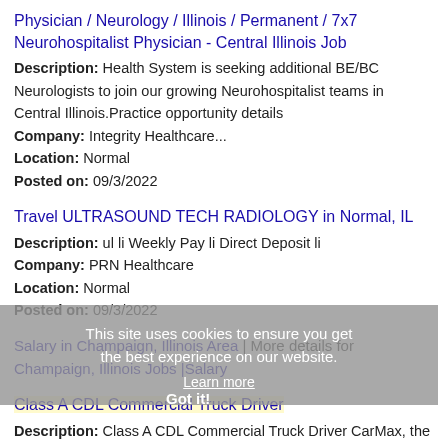Physician / Neurology / Illinois / Permanent / 7x7 Neurohospitalist Physician - Central Illinois Job
Description: Health System is seeking additional BE/BC Neurologists to join our growing Neurohospitalist teams in Central Illinois.Practice opportunity details
Company: Integrity Healthcare...
Location: Normal
Posted on: 09/3/2022
Travel ULTRASOUND TECH RADIOLOGY in Normal, IL
Description: ul li Weekly Pay li Direct Deposit li
Company: PRN Healthcare
Location: Normal
Posted on: 09/3/2022
This site uses cookies to ensure you get the best experience on our website. Learn more
Salary in Champaign, Illinois Area | More details for Champaign, Illinois Jobs |Salary
Class A CDL Commercial Truck Driver
Description: Class A CDL Commercial Truck Driver CarMax, the way your career should be Delivering satisfaction, every day At CarMax, we want to give our customers a great experience, whether they are buying or calling (more...)